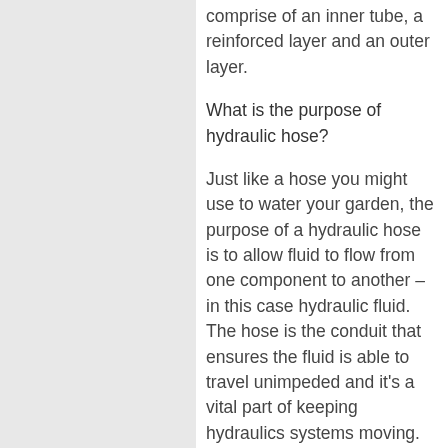comprise of an inner tube, a reinforced layer and an outer layer.
What is the purpose of hydraulic hose?
Just like a hose you might use to water your garden, the purpose of a hydraulic hose is to allow fluid to flow from one component to another – in this case hydraulic fluid. The hose is the conduit that ensures the fluid is able to travel unimpeded and it's a vital part of keeping hydraulics systems moving. In fact, if a hydraulic hose was to fail it can bring entire production lines to a